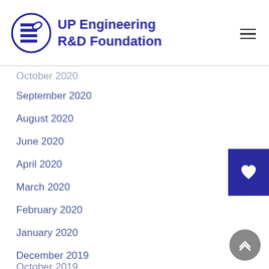UP Engineering R&D Foundation
October 2020
September 2020
August 2020
June 2020
April 2020
March 2020
February 2020
January 2020
December 2019
November 2019
October 2019